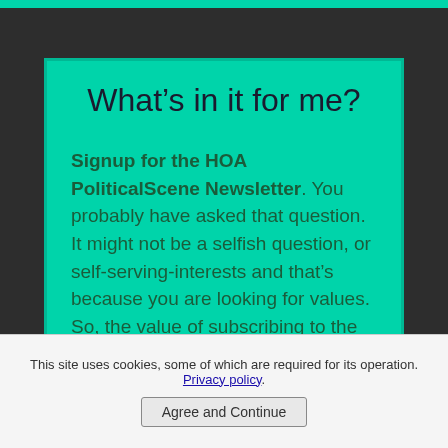What’s in it for me?
Signup for the HOA PoliticalScene Newsletter. You probably have asked that question. It might not be a selfish question, or self-serving-interests and that’s because you are looking for values. So, the value of subscribing to the newsletter is political knowledge. If you are not concerned of politics, then you should know that it has severe
This site uses cookies, some of which are required for its operation. Privacy policy. Agree and Continue